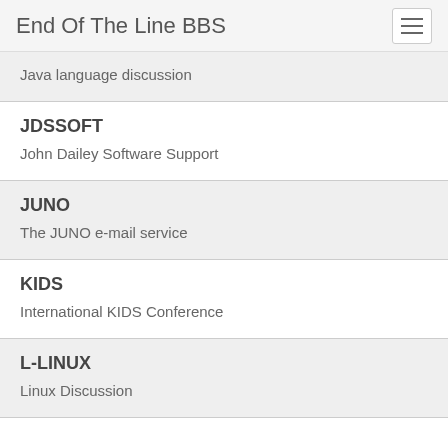End Of The Line BBS
Java language discussion
JDSSOFT
John Dailey Software Support
JUNO
The JUNO e-mail service
KIDS
International KIDS Conference
L-LINUX
Linux Discussion